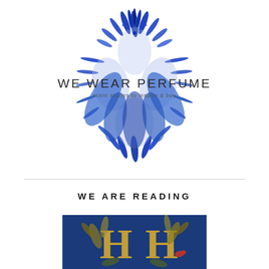[Figure (logo): We Wear Perfume logo: circular blue floral/leaf ornamental design with text 'WE WEAR PERFUME' and subtitle 'scent stories to inspire & buy']
WE ARE READING
[Figure (photo): Blue book cover with gold illustrated letters H and H surrounded by botanical and wildlife illustrations]